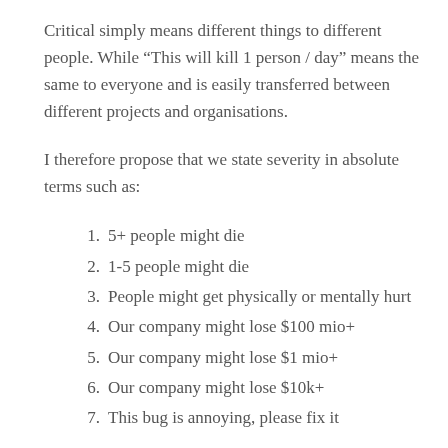Critical simply means different things to different people. While “This will kill 1 person / day” means the same to everyone and is easily transferred between different projects and organisations.
I therefore propose that we state severity in absolute terms such as:
5+ people might die
1-5 people might die
People might get physically or mentally hurt
Our company might lose $100 mio+
Our company might lose $1 mio+
Our company might lose $10k+
This bug is annoying, please fix it